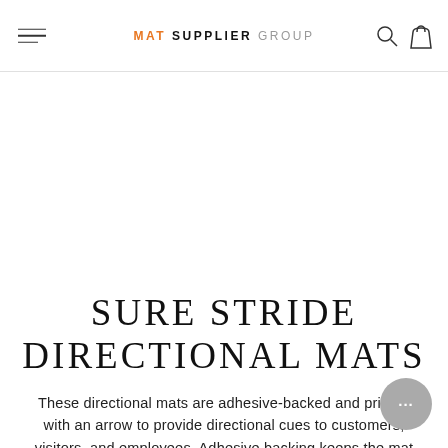MAT SUPPLIER GROUP
SURE STRIDE DIRECTIONAL MATS
These directional mats are adhesive-backed and printed with an arrow to provide directional cues to customers, visitors, and employees. Adhesive backing keeps the mat flat and in place, even with heavy cart and buggy traffic.